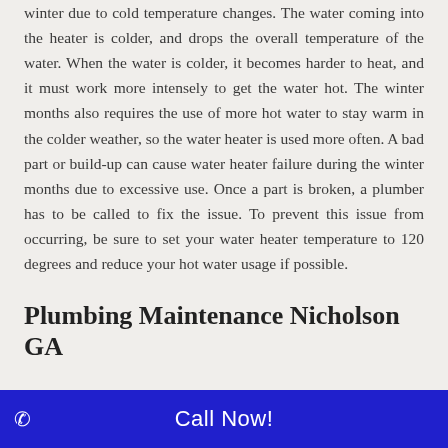winter due to cold temperature changes. The water coming into the heater is colder, and drops the overall temperature of the water. When the water is colder, it becomes harder to heat, and it must work more intensely to get the water hot. The winter months also requires the use of more hot water to stay warm in the colder weather, so the water heater is used more often. A bad part or build-up can cause water heater failure during the winter months due to excessive use. Once a part is broken, a plumber has to be called to fix the issue. To prevent this issue from occurring, be sure to set your water heater temperature to 120 degrees and reduce your hot water usage if possible.
Plumbing Maintenance Nicholson GA
By The Basics Include:
Call Now!